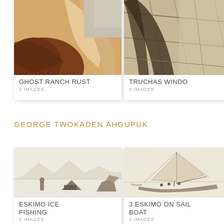[Figure (photo): Ghost Ranch Rust artwork thumbnail showing orange and brown rocky textures with label 'GHOST RANCH RUST, 2 IMAGES']
[Figure (photo): Truchas Windows artwork thumbnail showing cracked tan stone texture with label 'TRUCHAS WINDO[WS], 2 IMAGES']
GEORGE TWOKADEN AHGUPUK
[Figure (illustration): Eskimo Ice Fishing sketch showing figures on snow with mountains in background, label 'ESKIMO ICE FISHING, 2 IMAGES']
[Figure (illustration): 3 Eskimo On Sail Boat sketch showing a sailboat with figures, label '3 ESKIMO ON SAIL BOAT, 2 IMAGES']